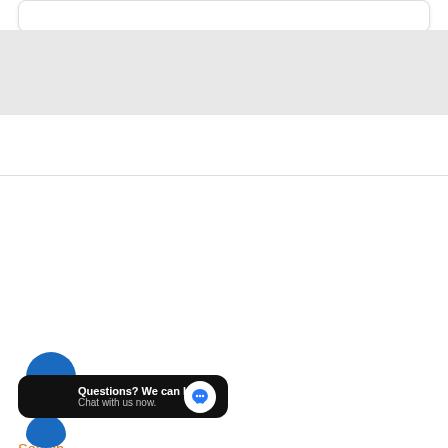[Figure (screenshot): Top portion of a white card with rounded corners and drop shadow on a light gray background]
[Figure (illustration): Orange circle arrow icon (right-pointing arrow in a circle)]
More Menu
Search
About us
Refund And Return Policy
Terms of Service and Condition
Privacy Policy
[Figure (screenshot): Chat popup widget: dark background with 'Questions? We can help. Chat with us now.' text and a blue speech bubble icon, with a blue circle avatar partially visible]